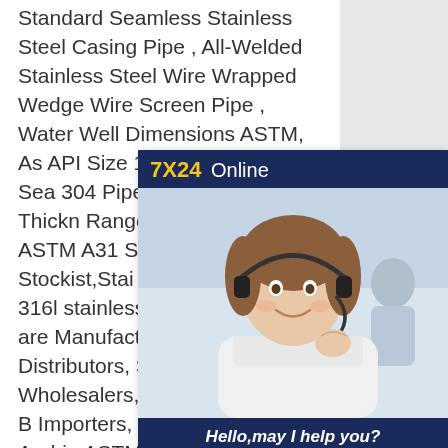Standard Seamless Stainless Steel Casing Pipe , All-Welded Stainless Steel Wire Wrapped Wedge Wire Screen Pipe , Water Well Dimensions ASTM, AS API Size 1/8NB TO 30NB IN Sea 304 Pipes 1/2" NB-16" NB Thickness Range 0.3mm-50 mm ASTM A31 Stainless Steel Pipe Stockist,Stai astm gas pipe 304 316l stainless pipes supplierWe are Manufactur Suppliers , Distributors, Stockhol Wholesalers, Dealers, Stockist, B Importers, Retailers in Saudi Arabia ASTM A312 TP 304 Stainless Steel Pipe is mainly chosen for corrosion resistance and several types of corrosion test options are available to ensure that the requirements of the specification can be met. Our wide range of A312 TP 304
[Figure (photo): Chat widget overlay showing '7X24 Online' header in dark navy blue with yellow text, a photo of a smiling woman wearing a headset, and a 'Hello, may I help you?' message with a 'Get Latest Price' yellow button.]